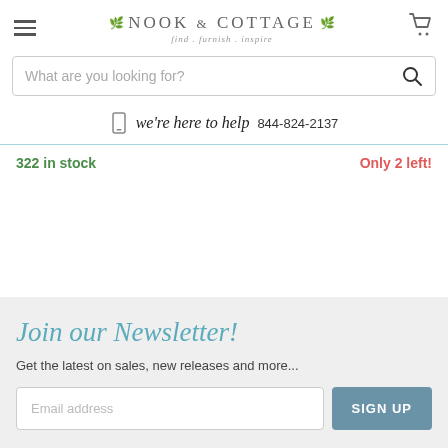[Figure (logo): Nook & Cottage logo with wreath decoration and tagline 'find . furnish . inspire']
What are you looking for?
we're here to help 844-824-2137
322 in stock
Only 2 left!
Join our Newsletter!
Get the latest on sales, new releases and more...
Email address
SIGN UP